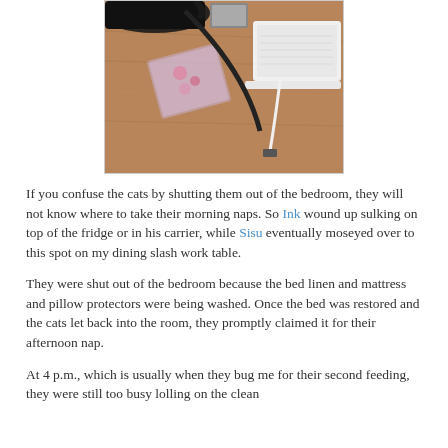[Figure (photo): A cat on a wooden dining/work table surface, next to a white MacBook laptop, cables, and a decorative pink floral item (possibly a mousepad or coaster).]
If you confuse the cats by shutting them out of the bedroom, they will not know where to take their morning naps. So Ink wound up sulking on top of the fridge or in his carrier, while Sisu eventually moseyed over to this spot on my dining slash work table.
They were shut out of the bedroom because the bed linen and mattress and pillow protectors were being washed. Once the bed was restored and the cats let back into the room, they promptly claimed it for their afternoon nap.
At 4 p.m., which is usually when they bug me for their second feeding, they were still too busy lolling on the clean